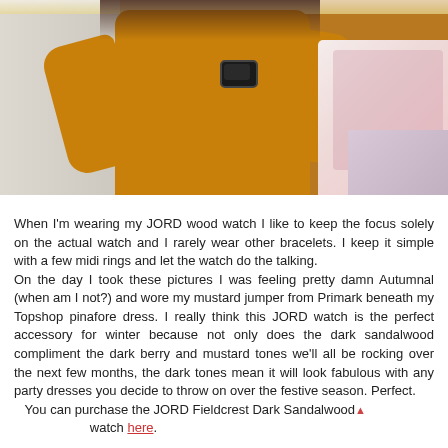[Figure (photo): Photo of a person wearing a mustard/orange sweater and a dark watch, with fairy lights and floral pillows in the background]
When I'm wearing my JORD wood watch I like to keep the focus solely on the actual watch and I rarely wear other bracelets. I keep it simple with a few midi rings and let the watch do the talking.
On the day I took these pictures I was feeling pretty damn Autumnal (when am I not?) and wore my mustard jumper from Primark beneath my Topshop pinafore dress. I really think this JORD watch is the perfect accessory for winter because not only does the dark sandalwood compliment the dark berry and mustard tones we'll all be rocking over the next few months, the dark tones mean it will look fabulous with any party dresses you decide to throw on over the festive season. Perfect.
   You can purchase the JORD Fieldcrest Dark Sandalwood watch here.